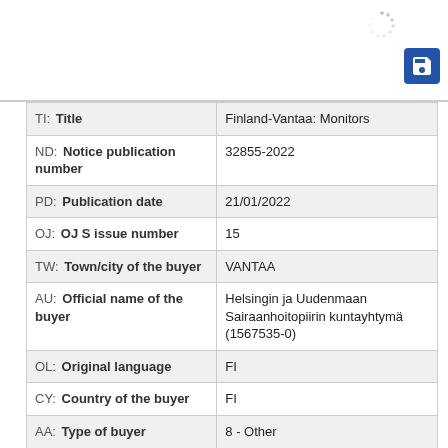| Field | Value |
| --- | --- |
| TI: Title | Finland-Vantaa: Monitors |
| ND: Notice publication number | 32855-2022 |
| PD: Publication date | 21/01/2022 |
| OJ: OJ S issue number | 15 |
| TW: Town/city of the buyer | VANTAA |
| AU: Official name of the buyer | Helsingin ja Uudenmaan Sairaanhoitopiirin kuntayhtyma (1567535-0) |
| OL: Original language | FI |
| CY: Country of the buyer | FI |
| AA: Type of buyer | 8 - Other |
| HA: EU institution/agency | - |